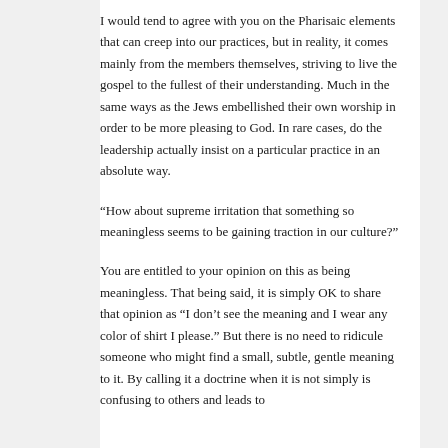I would tend to agree with you on the Pharisaic elements that can creep into our practices, but in reality, it comes mainly from the members themselves, striving to live the gospel to the fullest of their understanding. Much in the same ways as the Jews embellished their own worship in order to be more pleasing to God. In rare cases, do the leadership actually insist on a particular practice in an absolute way.
“How about supreme irritation that something so meaningless seems to be gaining traction in our culture?”
You are entitled to your opinion on this as being meaningless. That being said, it is simply OK to share that opinion as “I don’t see the meaning and I wear any color of shirt I please.” But there is no need to ridicule someone who might find a small, subtle, gentle meaning to it. By calling it a doctrine when it is not simply is confusing to others and leads to